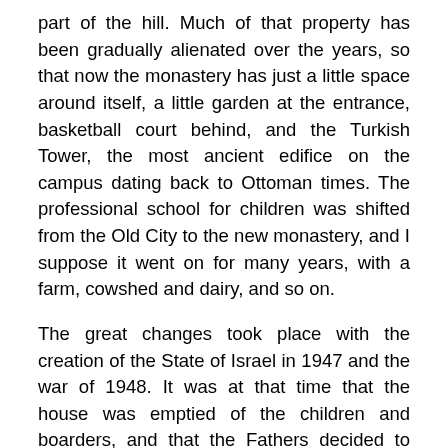part of the hill. Much of that property has been gradually alienated over the years, so that now the monastery has just a little space around itself, a little garden at the entrance, basketball court behind, and the Turkish Tower, the most ancient edifice on the campus dating back to Ottoman times. The professional school for children was shifted from the Old City to the new monastery, and I suppose it went on for many years, with a farm, cowshed and dairy, and so on.
The great changes took place with the creation of the State of Israel in 1947 and the war of 1948. It was at that time that the house was emptied of the children and boarders, and that the Fathers decided to take in refugees, mostly from Gush Etzion, which was one of the kibbutzes on the warfront. The refugees were naturally women and children; the men were out fighting, mostly. There are books that recount the interesting experience